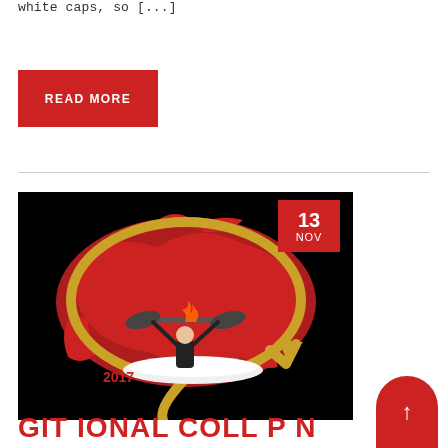white caps, so [...]
READ MORE
[Figure (illustration): Promotional graphic with black background showing a kayaker (woman with paddle raised) on a white kayak, superimposed over a red silhouette map of Canada/North America, surrounded by a gold oval arrow shape. Text '2017' in red. Red date badge showing '13 NOV' in top-right corner.]
13 NOV
GIT IONAL COLL P N